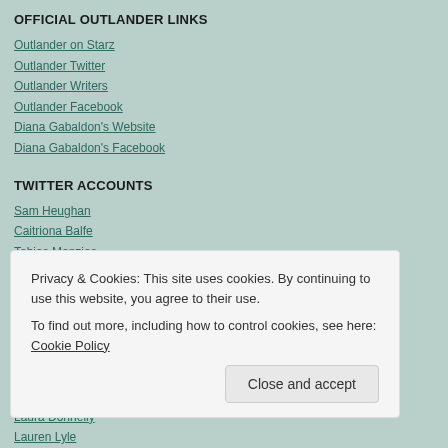OFFICIAL OUTLANDER LINKS
Outlander on Starz
Outlander Twitter
Outlander Writers
Outlander Facebook
Diana Gabaldon's Website
Diana Gabaldon's Facebook
TWITTER ACCOUNTS
Sam Heughan
Caitriona Balfe
Tobias Menzies
Billy Boyd
David Berry (Instagram)
Duncan Lacroix (Instagram)
Caitlin O'Ryan
César Domboy
Grant O'Rourke
John Bell
Laura Donnelly
Lauren Lyle
Lotte Verbeek
Maria Doyle Kennedy
Nell Hudson
Privacy & Cookies: This site uses cookies. By continuing to use this website, you agree to their use.
To find out more, including how to control cookies, see here: Cookie Policy
Close and accept